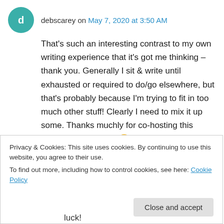debscarey on May 7, 2020 at 3:50 AM
That's such an interesting contrast to my own writing experience that it's got me thinking – thank you. Generally I sit & write until exhausted or required to do/go elsewhere, but that's probably because I'm trying to fit in too much other stuff! Clearly I need to mix it up some. Thanks muchly for co-hosting this month & for the visit 🙂
Privacy & Cookies: This site uses cookies. By continuing to use this website, you agree to their use.
To find out more, including how to control cookies, see here: Cookie Policy
Close and accept
luck!